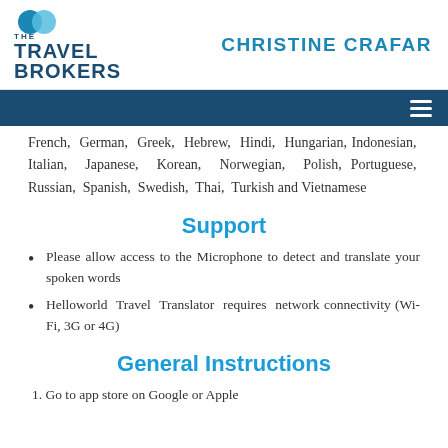THE TRAVEL BROKERS | CHRISTINE CRAFAR
French, German, Greek, Hebrew, Hindi, Hungarian, Indonesian, Italian, Japanese, Korean, Norwegian, Polish, Portuguese, Russian, Spanish, Swedish, Thai, Turkish and Vietnamese
Support
Please allow access to the Microphone to detect and translate your spoken words
Helloworld Travel Translator requires network connectivity (Wi-Fi, 3G or 4G)
General Instructions
1. Go to app store on Google or Apple